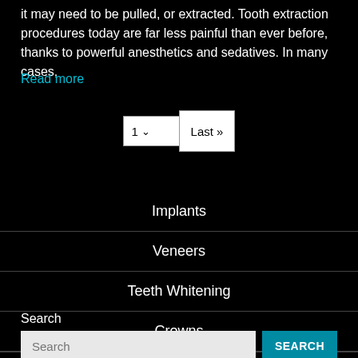it may need to be pulled, or extracted. Tooth extraction procedures today are far less painful than ever before, thanks to powerful anesthetics and sedatives. In many cases,
Read more
[Figure (other): Pagination control with dropdown showing '1' and a 'Last >>' button]
Implants
Veneers
Teeth Whitening
Crowns
Search
[Figure (other): Search input field with placeholder 'Search' and a teal SEARCH button]